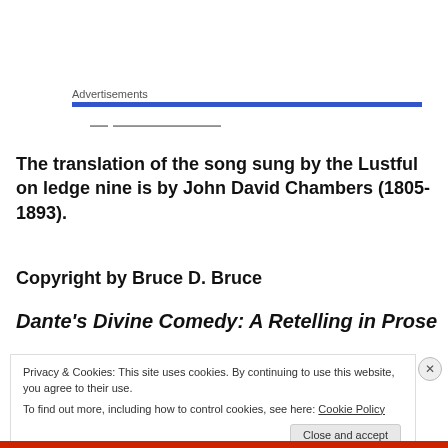Advertisements
The translation of the song sung by the Lustful on ledge nine is by John David Chambers (1805-1893).
Copyright by Bruce D. Bruce
Dante's Divine Comedy: A Retelling in Prose
Privacy & Cookies: This site uses cookies. By continuing to use this website, you agree to their use.
To find out more, including how to control cookies, see here: Cookie Policy